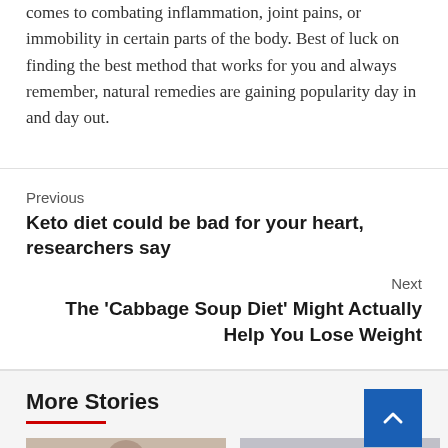comes to combating inflammation, joint pains, or immobility in certain parts of the body. Best of luck on finding the best method that works for you and always remember, natural remedies are gaining popularity day in and day out.
Previous
Keto diet could be bad for your heart, researchers say
Next
The 'Cabbage Soup Diet' Might Actually Help You Lose Weight
More Stories
[Figure (photo): Photo thumbnail of a person, left story card]
[Figure (photo): Photo thumbnail, right story card]